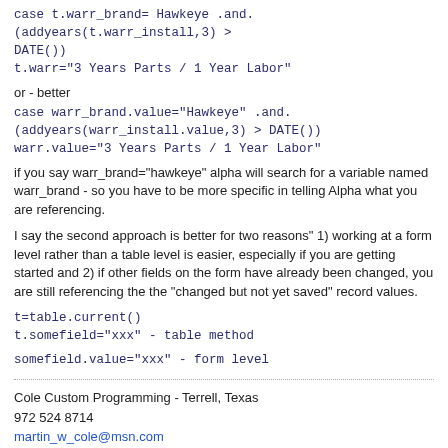case t.warr_brand= Hawkeye .and. (addyears(t.warr_install,3) > DATE())
t.warr="3 Years Parts / 1 Year Labor"
or - better
case warr_brand.value="Hawkeye" .and. (addyears(warr_install.value,3) > DATE())
warr.value="3 Years Parts / 1 Year Labor"
if you say warr_brand="hawkeye" alpha will search for a variable named warr_brand - so you have to be more specific in telling Alpha what you are referencing.
I say the second approach is better for two reasons" 1) working at a form level rather than a table level is easier, especially if you are getting started and 2) if other fields on the form have already been changed, you are still referencing the the "changed but not yet saved" record values.
t=table.current()
t.somefield="xxx" - table method
somefield.value="xxx" - form level
Cole Custom Programming - Terrell, Texas
972 524 8714
martin_w_cole@msn.com